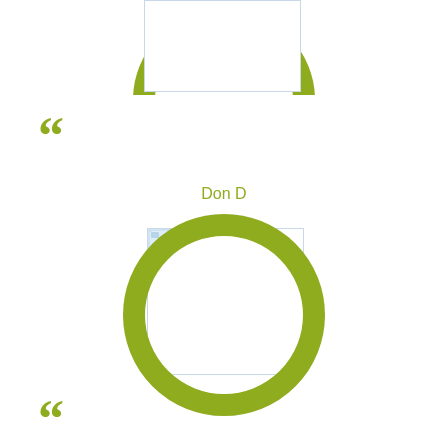[Figure (illustration): Partial green circle ring at top of page, clipped, over a white box with light border]
““
Don D
[Figure (illustration): Green circle ring (olive/yellow-green, thick stroke) centered around a white box with light border. A broken image icon appears in the top-left corner of the box.]
““